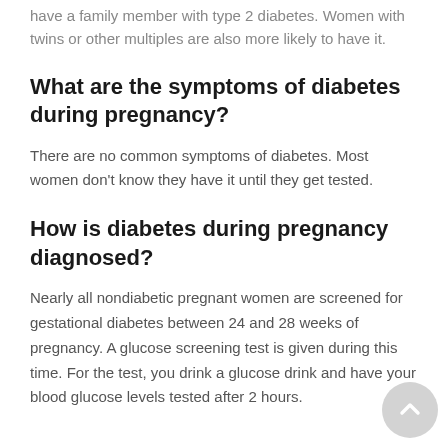have a family member with type 2 diabetes. Women with twins or other multiples are also more likely to have it.
What are the symptoms of diabetes during pregnancy?
There are no common symptoms of diabetes. Most women don't know they have it until they get tested.
How is diabetes during pregnancy diagnosed?
Nearly all nondiabetic pregnant women are screened for gestational diabetes between 24 and 28 weeks of pregnancy. A glucose screening test is given during this time. For the test, you drink a glucose drink and have your blood glucose levels tested after 2 hours.